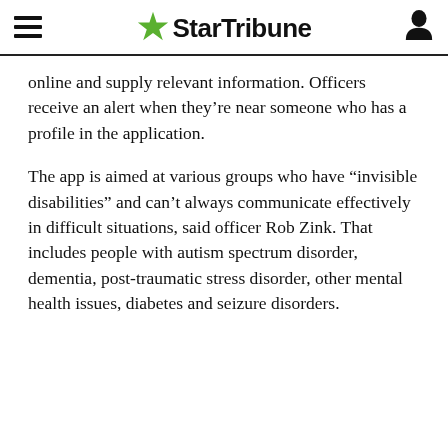StarTribune
online and supply relevant information. Officers receive an alert when they’re near someone who has a profile in the application.
The app is aimed at various groups who have “invisible disabilities” and can’t always communicate effectively in difficult situations, said officer Rob Zink. That includes people with autism spectrum disorder, dementia, post-traumatic stress disorder, other mental health issues, diabetes and seizure disorders.